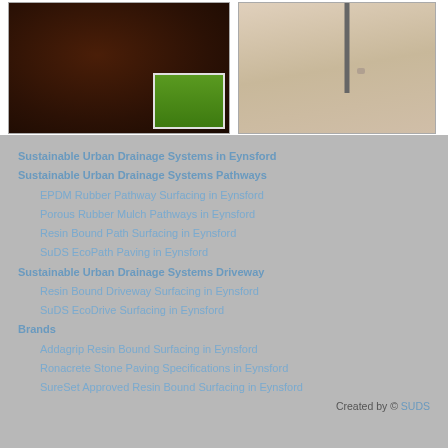[Figure (photo): Left: photo of dark rubber mulch ground cover with patch of green grass inset. Right: photo of light beige resin bound surface with a metal pole/stake inserted into it.]
Sustainable Urban Drainage Systems in Eynsford
Sustainable Urban Drainage Systems Pathways
EPDM Rubber Pathway Surfacing in Eynsford
Porous Rubber Mulch Pathways in Eynsford
Resin Bound Path Surfacing in Eynsford
SuDS EcoPath Paving in Eynsford
Sustainable Urban Drainage Systems Driveway
Resin Bound Driveway Surfacing in Eynsford
SuDS EcoDrive Surfacing in Eynsford
Brands
Addagrip Resin Bound Surfacing in Eynsford
Ronacrete Stone Paving Specifications in Eynsford
SureSet Approved Resin Bound Surfacing in Eynsford
Created by © SUDS